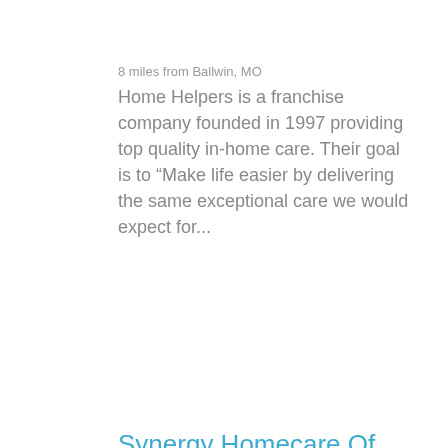8 miles from Ballwin, MO
Home Helpers is a franchise company founded in 1997 providing top quality in-home care. Their goal is to “Make life easier by delivering the same exceptional care we would expect for...
Synergy Homecare Of Saint Louis
8 miles from Ballwin, MO
SYNERGY HomeCare is a franchise company founded in 1999 offering a full range of non-medical home care services. All caregivers go through a